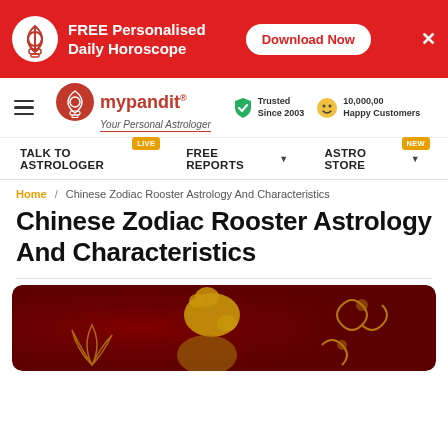[Figure (other): Red banner advertisement: logo icon, FREE Personalised Daily Horoscope text, Download Now button, close X]
[Figure (other): mypandit website navigation bar with logo, Trusted Since 2003, 10,000,00 Happy Customers]
[Figure (other): Navigation menu: TALK TO ASTROLOGER (LIVE badge), FREE REPORTS dropdown, ASTRO STORE dropdown (NEW badge)]
Home / Chinese Zodiac Rooster Astrology And Characteristics
Chinese Zodiac Rooster Astrology And Characteristics
[Figure (illustration): Dark red background with golden decorative rooster illustration, partially visible at bottom of page]